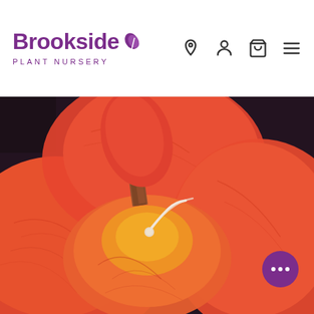[Figure (logo): Brookside Plant Nursery logo with purple text and leaf icon]
[Figure (photo): Close-up photograph of a large orange-red canna lily flower with white stamens against a dark background]